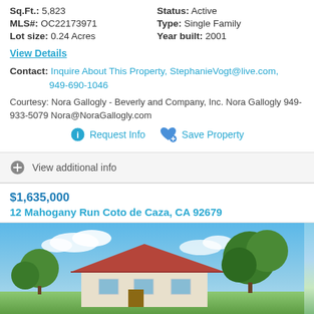Sq.Ft.: 5,823
Status: Active
MLS#: OC22173971
Type: Single Family
Lot size: 0.24 Acres
Year built: 2001
View Details
Contact: Inquire About This Property, StephanieVogt@live.com, 949-690-1046
Courtesy: Nora Gallogly - Beverly and Company, Inc. Nora Gallogly 949-933-5079 Nora@NoraGallogly.com
Request Info
Save Property
View additional info
$1,635,000
12 Mahogany Run Coto de Caza, CA 92679
[Figure (photo): Exterior photo of a single family home with red/terra cotta tile roof, white/beige exterior, blue sky with white clouds, and green trees in the background.]